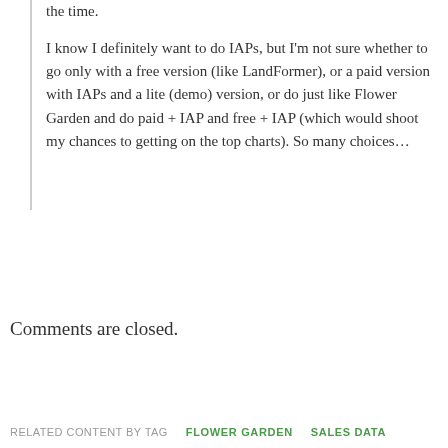the time.

I know I definitely want to do IAPs, but I'm not sure whether to go only with a free version (like LandFormer), or a paid version with IAPs and a lite (demo) version, or do just like Flower Garden and do paid + IAP and free + IAP (which would shoot my chances to getting on the top charts). So many choices…
Comments are closed.
RELATED CONTENT BY TAG   FLOWER GARDEN   SALES DATA